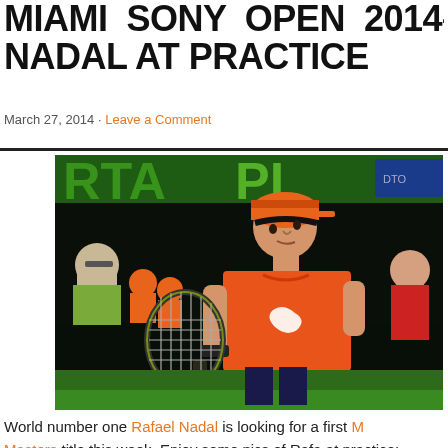MIAMI SONY OPEN 2014– RAFA NADAL AT PRACTICE
March 27, 2014 · Leave a Comment
[Figure (photo): Rafael Nadal in orange Nike shirt and orange cap holding a tennis racket at practice during the 2014 Miami Sony Open. Other players/people visible in background with green court and sponsor banners.]
World number one Rafael Nadal is looking for a first Miami Masters title this week. Enjoy some pics of Rafa at practice: